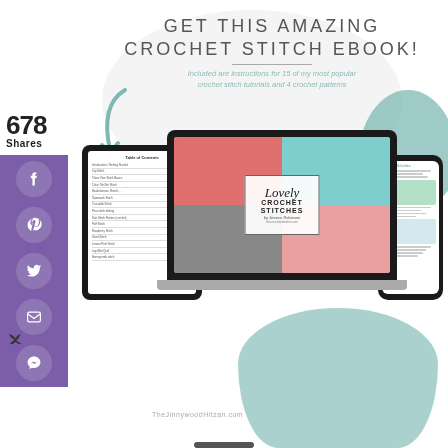678 Shares
GET THIS AMAZING CROCHET STITCH EBOOK!
Included are instructions for 15 of my most popular crochet stitch tutorials and 4 crochet patterns
[Figure (illustration): Mockup of devices (tablet, laptop, phone) showing a crochet stitch ebook called 'Lovely Crochet Stitches' with table of contents and stitch grid cover]
TheJinnywoodHitzan.com